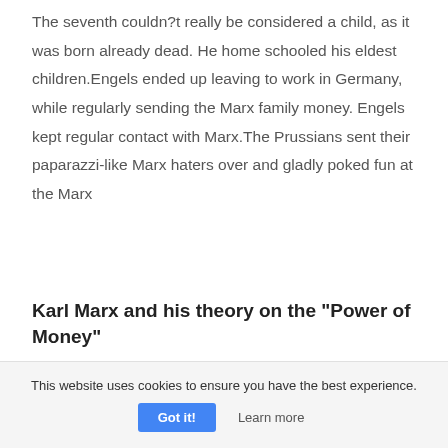The seventh couldn?t really be considered a child, as it was born already dead. He home schooled his eldest children.Engels ended up leaving to work in Germany, while regularly sending the Marx family money. Engels kept regular contact with Marx.The Prussians sent their paparazzi-like Marx haters over and gladly poked fun at the Marx
Karl Marx and his theory on the "Power of Money"
394 words · 2 pages
This website uses cookies to ensure you have the best experience.